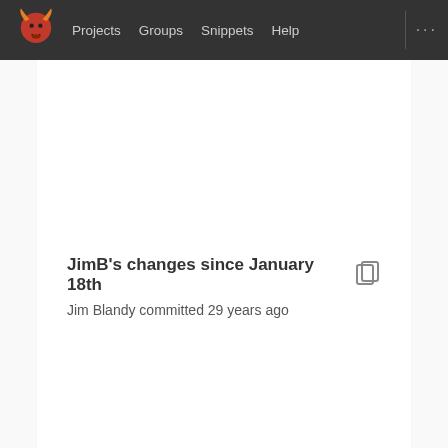Projects  Groups  Snippets  Help  ...
JimB's changes since January 18th
Jim Blandy committed 29 years ago